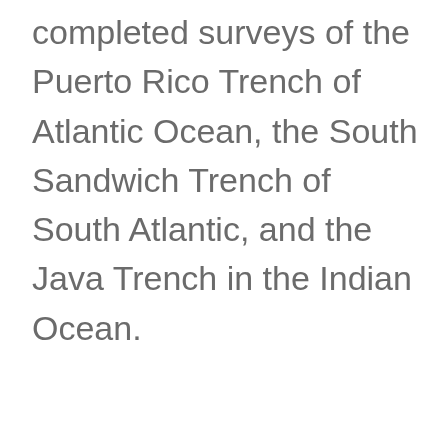completed surveys of the Puerto Rico Trench of Atlantic Ocean, the South Sandwich Trench of South Atlantic, and the Java Trench in the Indian Ocean.